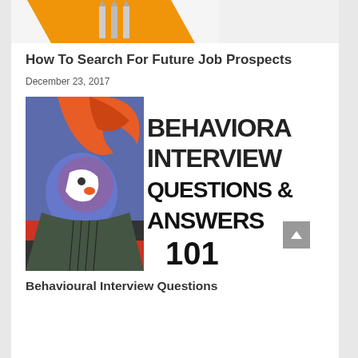[Figure (illustration): Partial view of an orange-colored image at the top, showing what appears to be pencils or tools on an orange background]
How To Search For Future Job Prospects
December 23, 2017
[Figure (illustration): Book cover image showing 'BEHAVIORAL INTERVIEW QUESTIONS & ANSWERS 101' with a colorful artistic illustration of a face on the left side]
Behavioural Interview Questions